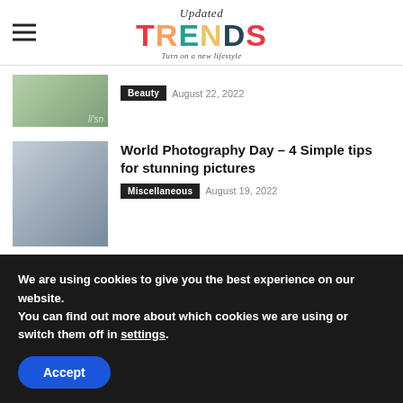Updated TRENDS - Turn on a new lifestyle
[Figure (photo): Partial thumbnail image with green tones, beauty related]
Beauty   August 22, 2022
[Figure (photo): Thumbnail of person with camera, photography related]
World Photography Day – 4 Simple tips for stunning pictures
Miscellaneous   August 19, 2022
We are using cookies to give you the best experience on our website.
You can find out more about which cookies we are using or switch them off in settings.
Accept